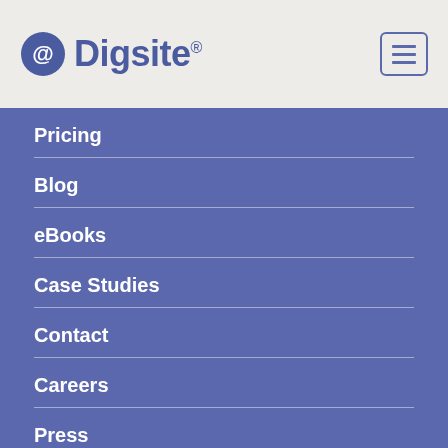[Figure (logo): Digsite logo with circular icon and text]
Pricing
Blog
eBooks
Case Studies
Contact
Careers
Press